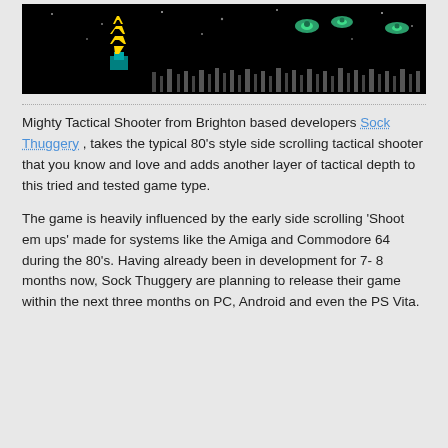[Figure (screenshot): Screenshot of a side-scrolling space shooter game with dark/black background, a player ship with yellow chevron at top center, enemy ships (green/teal) on the right, and a landscape of city/alien structures along the bottom.]
Mighty Tactical Shooter from Brighton based developers Sock Thuggery , takes the typical 80's style side scrolling tactical shooter that you know and love and adds another layer of tactical depth to this tried and tested game type.
The game is heavily influenced by the early side scrolling 'Shoot em ups' made for systems like the Amiga and Commodore 64 during the 80's. Having already been in development for 7- 8 months now, Sock Thuggery are planning to release their game within the next three months on PC, Android and even the PS Vita.